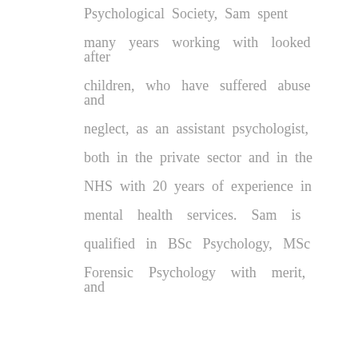Psychological Society, Sam spent many years working with looked after children, who have suffered abuse and neglect, as an assistant psychologist, both in the private sector and in the NHS with 20 years of experience in mental health services. Sam is qualified in BSc Psychology, MSc Forensic Psychology with merit, and